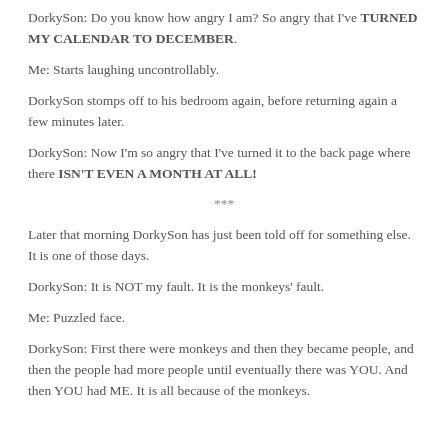DorkySon: Do you know how angry I am? So angry that I've TURNED MY CALENDAR TO DECEMBER.
Me: Starts laughing uncontrollably.
DorkySon stomps off to his bedroom again, before returning again a few minutes later.
DorkySon: Now I'm so angry that I've turned it to the back page where there ISN'T EVEN A MONTH AT ALL!
***
Later that morning DorkySon has just been told off for something else. It is one of those days.
DorkySon: It is NOT my fault. It is the monkeys' fault.
Me: Puzzled face.
DorkySon: First there were monkeys and then they became people, and then the people had more people until eventually there was YOU. And then YOU had ME. It is all because of the monkeys.